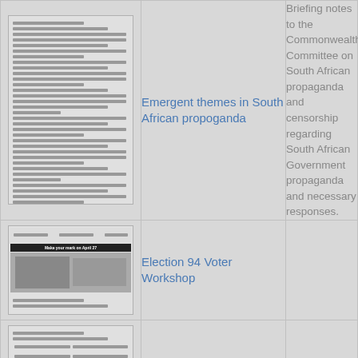| Image | Title | Description |
| --- | --- | --- |
| [document thumbnail] | Emergent themes in South African propoganda | Briefing notes to the Commonwealth Committee on South African propaganda and censorship regarding South African Government propaganda and necessary responses. |
| [newspaper thumbnail] | Election 94 Voter Workshop |  |
| [document thumbnail] | Editorials: The Emergency |  |
| [photo thumbnail] | Editorial: Apartheid in crisis |  |